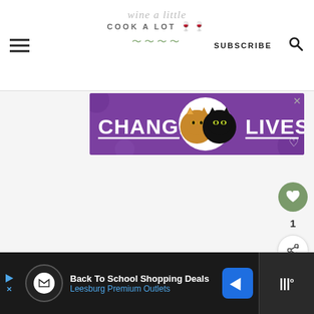wine a little cook a lot — SUBSCRIBE
[Figure (photo): Advertisement banner with purple background showing two cats (one tabby, one black) and text 'CHANGE LIVES' in white bold letters]
[Figure (infographic): Floating action buttons on right side: green heart/favorite button, count '1', and share button]
[Figure (infographic): Bottom advertisement bar for 'Back To School Shopping Deals' by Leesburg Premium Outlets on dark background]